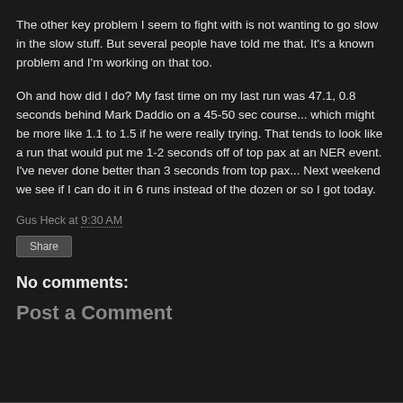The other key problem I seem to fight with is not wanting to go slow in the slow stuff. But several people have told me that. It's a known problem and I'm working on that too.
Oh and how did I do? My fast time on my last run was 47.1, 0.8 seconds behind Mark Daddio on a 45-50 sec course... which might be more like 1.1 to 1.5 if he were really trying. That tends to look like a run that would put me 1-2 seconds off of top pax at an NER event. I've never done better than 3 seconds from top pax... Next weekend we see if I can do it in 6 runs instead of the dozen or so I got today.
Gus Heck at 9:30 AM
Share
No comments:
Post a Comment